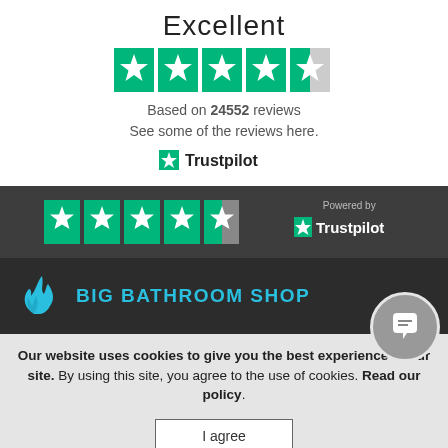Excellent
[Figure (other): Trustpilot 4.5-star rating stars (green with half star)]
Based on 24552 reviews
See some of the reviews here.
[Figure (logo): Trustpilot logo with green star]
[Figure (other): Dark banner with 4.5 Trustpilot stars and Powered by Trustpilot logo]
[Figure (logo): Big Bathroom Shop logo with teal flame/water drop icon and teal text BIG BATHROOM SHOP]
Our website uses cookies to give you the best experience of our site. By using this site, you agree to the use of cookies. Read our policy.
I agree